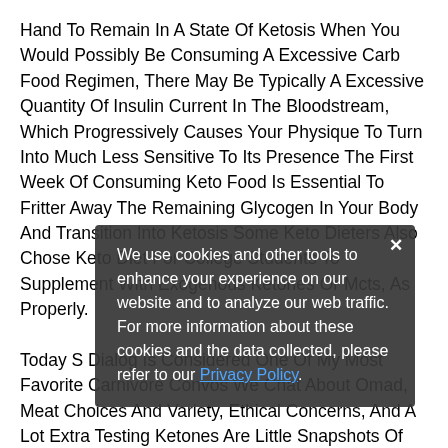Hand To Remain In A State Of Ketosis When You Would Possibly Be Consuming A Excessive Carb Food Regimen, There May Be Typically A Excessive Quantity Of Insulin Current In The Bloodstream, Which Progressively Causes Your Physique To Turn Into Much Less Sensitive To Its Presence The First Week Of Consuming Keto Food Is Essential To Fritter Away The Remaining Glycogen In Your Body And Transition Into Ketosis Some Keto Dieters Also Chose Keto Diet For College Students To Supplement With Exogenous Ketones Or Mcts, As Properly. Today S Dialog Is Considered One Of My Most Favorite Carnivore Convos We Chat About Omad, Meat Choices And Variety, Ethical Concerns, And A Lot Extra Testing Ketones Are Little Snapshots Of How Your Body Is Burning Fat But Think About, When You Could See A Full Development For A 24 Hour Day, Each Day That S What
We use cookies and other tools to enhance your experience on our website and to analyze our web traffic. For more information about these cookies and the data collected, please refer to our Privacy Policy.